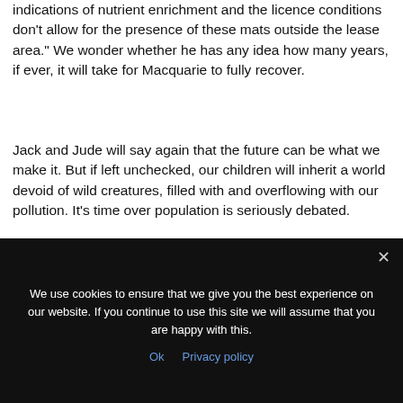indications of nutrient enrichment and the licence conditions don't allow for the presence of these mats outside the lease area." We wonder whether he has any idea how many years, if ever, it will take for Macquarie to fully recover.
Jack and Jude will say again that the future can be what we make it. But if left unchecked, our children will inherit a world devoid of wild creatures, filled with and overflowing with our pollution. It's time over population is seriously debated.
[Figure (other): Black rectangle representing an embedded video or image player]
We use cookies to ensure that we give you the best experience on our website. If you continue to use this site we will assume that you are happy with this. Ok  Privacy policy